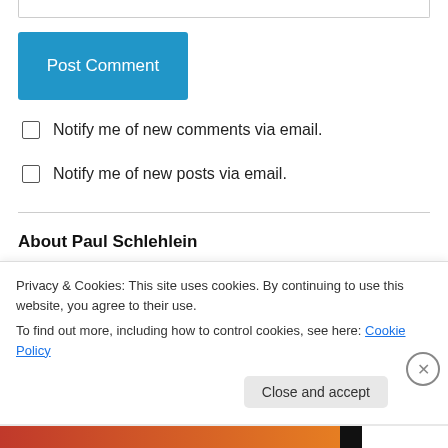[Figure (other): Post Comment button - blue rectangle with white text]
Notify me of new comments via email.
Notify me of new posts via email.
About Paul Schlehlein
[Figure (photo): Black and white headshot photo of Paul Schlehlein]
Follower of Jesus, husband, father of seven, and missionary to the Tsonga-speaking people in rural
Privacy & Cookies: This site uses cookies. By continuing to use this website, you agree to their use.
To find out more, including how to control cookies, see here: Cookie Policy
Close and accept